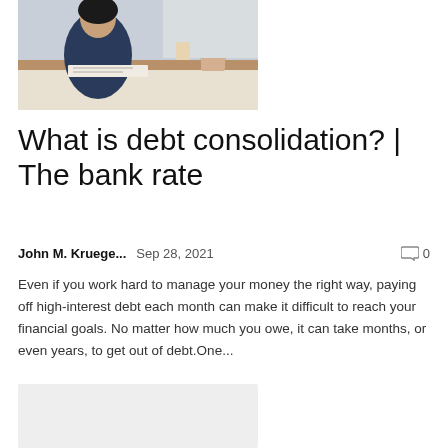[Figure (photo): Woman sitting at a kitchen counter writing on paper with a tablet, plants and kitchen items in background]
What is debt consolidation? | The bank rate
John M. Kruege...   Sep 28, 2021   💬 0
Even if you work hard to manage your money the right way, paying off high-interest debt each month can make it difficult to reach your financial goals. No matter how much you owe, it can take months, or even years, to get out of debt.One...
[Figure (photo): Partially visible image below the article preview, light gray placeholder]